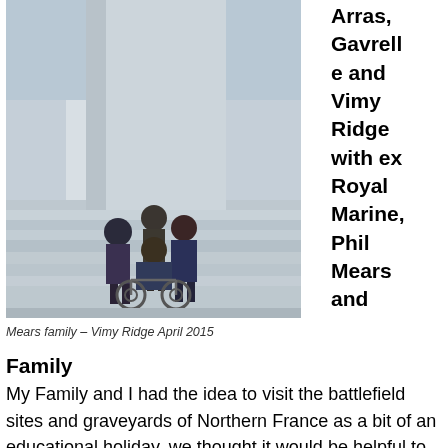[Figure (photo): A family group including a person in a wheelchair posing at the base of a large stone monument with wide steps, likely the Vimy Ridge Memorial in France.]
Mears family – Vimy Ridge April 2015
Arras, Gavrelle and Vimy Ridge with ex Royal Marine, Phil Mears and
Family
My Family and I had the idea to visit the battlefield sites and graveyards of Northern France as a bit of an educational holiday, we thought it would be helpful to have a guide with us, who could at least show us where best to visit. With Jan, what we got was a rich seam of